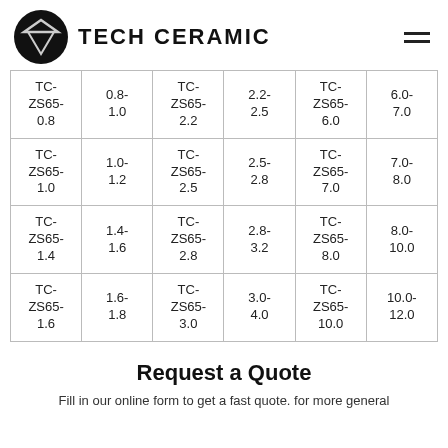TECH CERAMIC
| TC-
ZS65-
0.8 | 0.8-
1.0 | TC-
ZS65-
2.2 | 2.2-
2.5 | TC-
ZS65-
6.0 | 6.0-
7.0 |
| TC-
ZS65-
1.0 | 1.0-
1.2 | TC-
ZS65-
2.5 | 2.5-
2.8 | TC-
ZS65-
7.0 | 7.0-
8.0 |
| TC-
ZS65-
1.4 | 1.4-
1.6 | TC-
ZS65-
2.8 | 2.8-
3.2 | TC-
ZS65-
8.0 | 8.0-
10.0 |
| TC-
ZS65-
1.6 | 1.6-
1.8 | TC-
ZS65-
3.0 | 3.0-
4.0 | TC-
ZS65-
10.0 | 10.0-
12.0 |
Request a Quote
Fill in our online form to get a fast quote. for more general